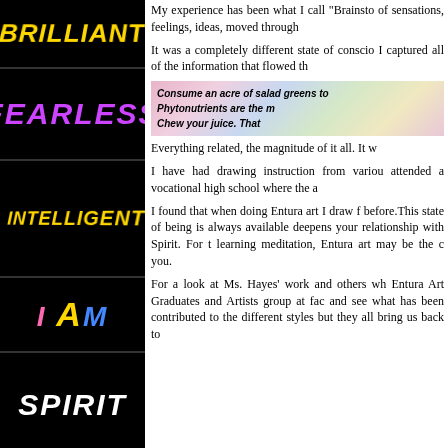[Figure (illustration): Left sidebar on black background with stylized motivational words: BRILLIANT (gold italic), FEARLESS (purple italic), INTELLIGENT (gold 3D perspective italic), I AM (multicolor), SPIRIT (white italic)]
My experience has been what I call "Brainsto of sensations, feelings, ideas, moved through
It was a completely different state of conscio I captured all of the information that flowed th
[Figure (photo): Banner image with colorful background showing text: Consume an acre of salad greens to / Phytonutrients are the m / Chew your juice. That]
Everything related, the magnitude of it all. It w
I have had drawing instruction from variou attended a vocational high school where the a
I found that when doing Entura art I draw f before.This state of being is always available deepens your relationship with Spirit. For t learning meditation, Entura art may be the c you.
For a look at Ms. Hayes' work and others wh Entura Art Graduates and Artists group at fac and see what has been contributed to the different styles but they all bring us back to